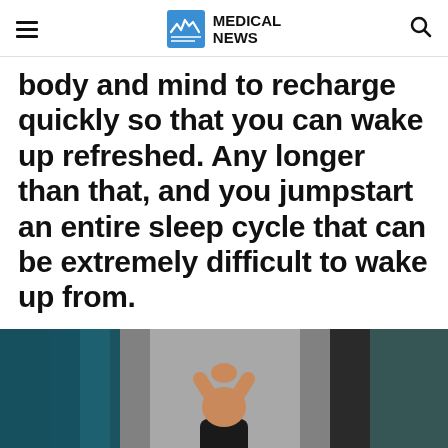MEDICAL NEWS
body and mind to recharge quickly so that you can wake up refreshed. Any longer than that, and you jumpstart an entire sleep cycle that can be extremely difficult to wake up from.
[Figure (photo): Person sitting up in bed with arms raised above head, stretching, with curtains in the background]
Advertisement
BitLife - Life Simulator  Install!